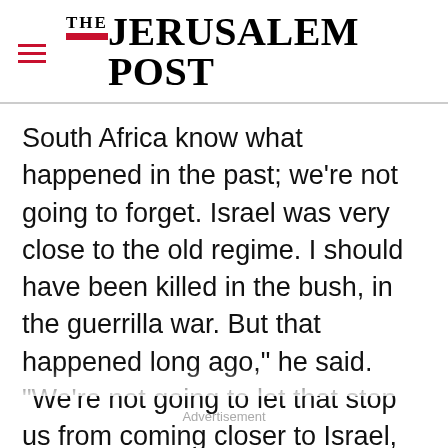THE JERUSALEM POST
South Africa know what happened in the past; we're not going to forget. Israel was very close to the old regime. I should have been killed in the bush, in the guerrilla war. But that happened long ago," he said. "We're not going to let that stop us from coming closer to Israel, from sharing expertise and moving forward." The turnaround in diplomatic ties between South Africa and Israel has done a world of good for South African
Advertisement